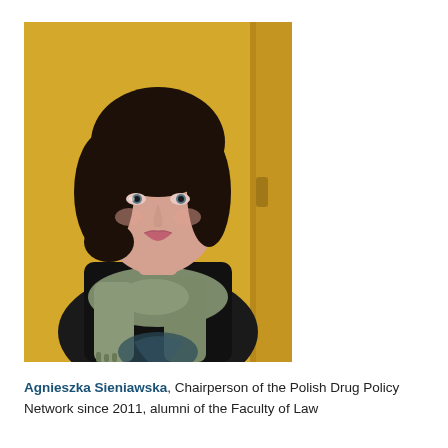[Figure (photo): Portrait photo of Agnieszka Sieniawska, a young woman with dark shoulder-length hair and side-swept bangs, wearing a black top and a grey-green scarf, posed against a yellow background.]
Agnieszka Sieniawska, Chairperson of the Polish Drug Policy Network since 2011, alumni of the Faculty of Law